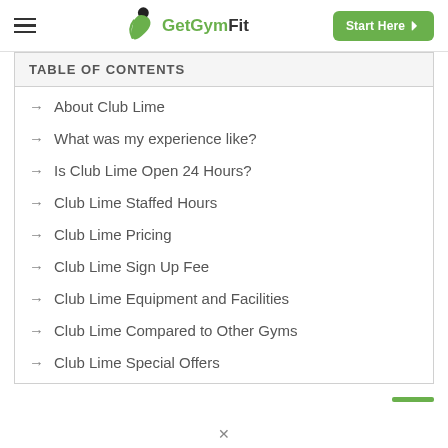GetGymFit — Start Here
TABLE OF CONTENTS
About Club Lime
What was my experience like?
Is Club Lime Open 24 Hours?
Club Lime Staffed Hours
Club Lime Pricing
Club Lime Sign Up Fee
Club Lime Equipment and Facilities
Club Lime Compared to Other Gyms
Club Lime Special Offers